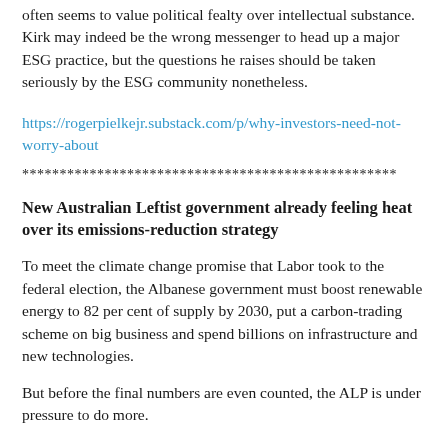often seems to value political fealty over intellectual substance. Kirk may indeed be the wrong messenger to head up a major ESG practice, but the questions he raises should be taken seriously by the ESG community nonetheless.
https://rogerpielkejr.substack.com/p/why-investors-need-not-worry-about
**************************************************
New Australian Leftist government already feeling heat over its emissions-reduction strategy
To meet the climate change promise that Labor took to the federal election, the Albanese government must boost renewable energy to 82 per cent of supply by 2030, put a carbon-trading scheme on big business and spend billions on infrastructure and new technologies.
But before the final numbers are even counted, the ALP is under pressure to do more.